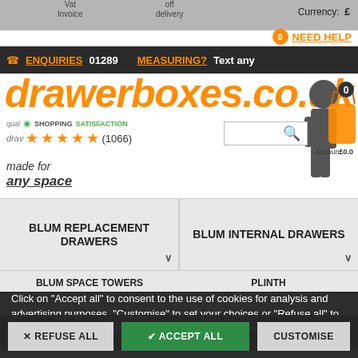Vat Invoice | off delivery | Currency: £
NEED HELP
ENQUIRIES 01289 | MEASURING? Text any
drawerboxes.co.uk
qual SHOPPING SATISFACTION
drav ★★★★★ (1066)
made for any space
BLUM REPLACEMENT DRAWERS
BLUM INTERNAL DRAWERS
BLUM SPACE TOWERS | PLINTH
Click on "Accept all" to consent to the use of cookies for analysis and advertising purposes, "Customise" to set your choices or "Refuse all" to oppose these uses on this site at the exception of those strictly necessary.
✕ REFUSE ALL | ✔ ACCEPT ALL | CUSTOMISE